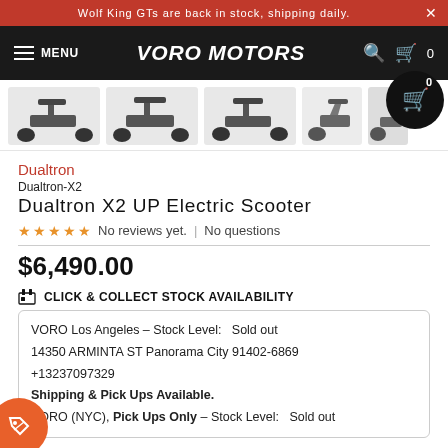Wolf King GTs are back in stock, shipping daily.
VORO MOTORS MENU
[Figure (photo): Row of electric scooter product thumbnail images]
Dualtron
Dualtron-X2
Dualtron X2 UP Electric Scooter
No reviews yet. | No questions
$6,490.00
CLICK & COLLECT STOCK AVAILABILITY
VORO Los Angeles - Stock Level:   Sold out
14350 ARMINTA ST Panorama City 91402-6869
+13237097329
Shipping & Pick Ups Available.
VORO (NYC), Pick Ups Only - Stock Level:   Sold out